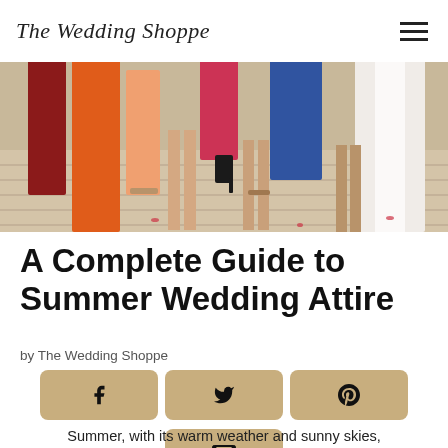The Wedding Shoppe
[Figure (photo): Close-up photo of bridesmaids legs and feet in colorful dresses standing on a wooden deck/aisle at an outdoor wedding. Colors include orange, red, pink, blue, and white dresses. Rose petals on the floor.]
A Complete Guide to Summer Wedding Attire
by The Wedding Shoppe
[Figure (infographic): Social media share buttons: Facebook (f), Twitter (bird), Pinterest (P), Email (envelope) — all in tan/gold color with rounded corners]
Summer, with its warm weather and sunny skies,